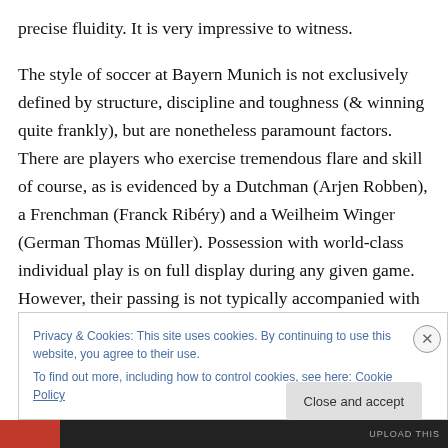precise fluidity. It is very impressive to witness.
The style of soccer at Bayern Munich is not exclusively defined by structure, discipline and toughness (& winning quite frankly), but are nonetheless paramount factors. There are players who exercise tremendous flare and skill of course, as is evidenced by a Dutchman (Arjen Robben), a Frenchman (Franck Ribéry) and a Weilheim Winger (German Thomas Müller). Possession with world-class individual play is on full display during any given game. However, their passing is not typically accompanied with
Privacy & Cookies: This site uses cookies. By continuing to use this website, you agree to their use.
To find out more, including how to control cookies, see here: Cookie Policy
Close and accept